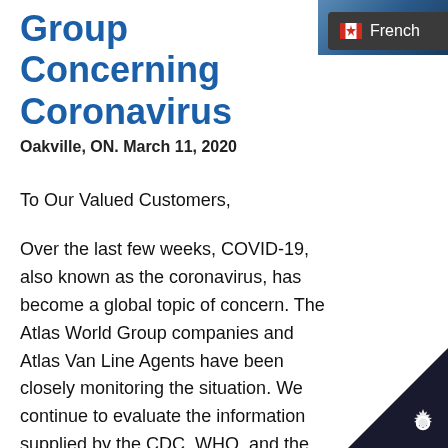[Figure (photo): Partial image of a person or object, cropped, top right corner of the page]
[Figure (other): French language toggle button with Canadian flag icon, dark background, top right area]
Group Concerning Coronavirus
Oakville, ON. March 11, 2020
To Our Valued Customers,
Over the last few weeks, COVID-19, also known as the coronavirus, has become a global topic of concern. The Atlas World Group companies and Atlas Van Line Agents have been closely monitoring the situation. We continue to evaluate the information supplied by the CDC, WHO, and the public health officials in the communities in
[Figure (other): Dark triangular corner element with gear/settings icon, bottom right corner]